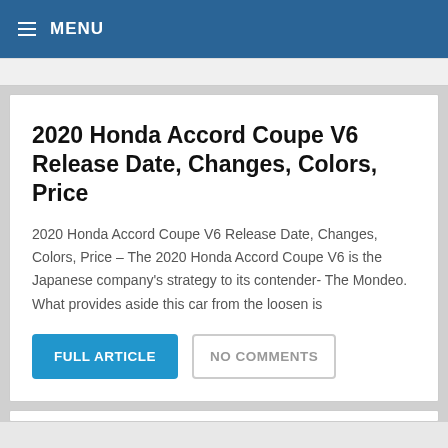MENU
2020 Honda Accord Coupe V6 Release Date, Changes, Colors, Price
2020 Honda Accord Coupe V6 Release Date, Changes, Colors, Price – The 2020 Honda Accord Coupe V6 is the Japanese company's strategy to its contender- The Mondeo. What provides aside this car from the loosen is
FULL ARTICLE
NO COMMENTS